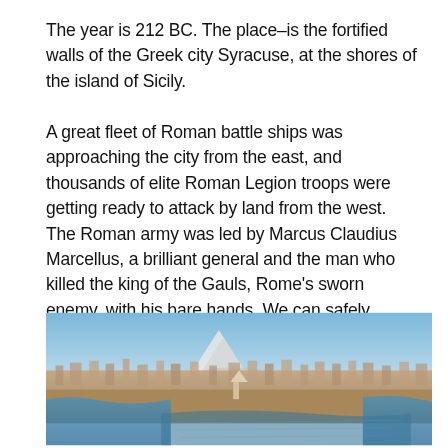The year is 212 BC. The place–is the fortified walls of the Greek city Syracuse, at the shores of the island of Sicily.
A great fleet of Roman battle ships was approaching the city from the east, and thousands of elite Roman Legion troops were getting ready to attack by land from the west. The Roman army was led by Marcus Claudius Marcellus, a brilliant general and the man who killed the king of the Gauls, Rome's sworn enemy, with his bare hands. We can safely assume that not many in the ancient world would be willing to trade places with Syracuse's defenders.
[Figure (photo): Aerial panoramic photograph of the city of Syracuse, Sicily, showing densely packed urban buildings, the harbor and sea, and a snow-capped mountain (Mount Etna) visible in the background under a blue sky.]